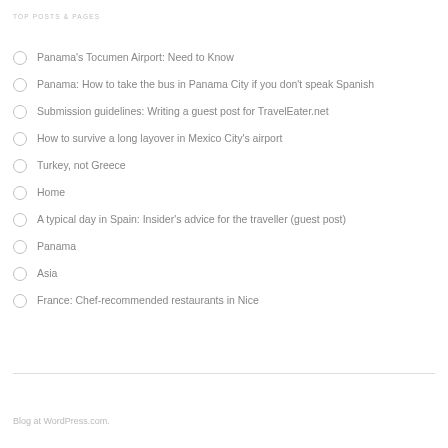TOP POSTS & PAGES
Panama's Tocumen Airport: Need to Know
Panama: How to take the bus in Panama City if you don't speak Spanish
Submission guidelines: Writing a guest post for TravelEater.net
How to survive a long layover in Mexico City's airport
Turkey, not Greece
Home
A typical day in Spain: Insider's advice for the traveller (guest post)
Panama
Asia
France: Chef-recommended restaurants in Nice
Blog at WordPress.com.